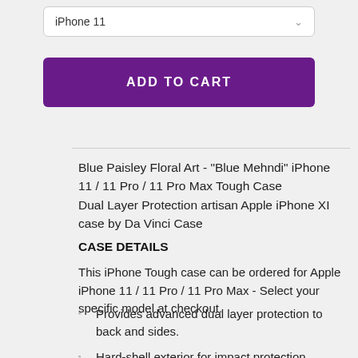[Figure (other): Dropdown selector showing 'iPhone 11' with a chevron arrow on the right]
[Figure (other): Purple 'ADD TO CART' button]
Blue Paisley Floral Art - "Blue Mehndi" iPhone 11 / 11 Pro / 11 Pro Max Tough Case
Dual Layer Protection artisan Apple iPhone XI case by Da Vinci Case
CASE DETAILS
This iPhone Tough case can be ordered for Apple iPhone 11 / 11 Pro / 11 Pro Max - Select your specific model at checkout.
Provides advanced dual layer protection to back and sides.
Hard-shell exterior for impact protection.
Silicone interior liner for extra shock...